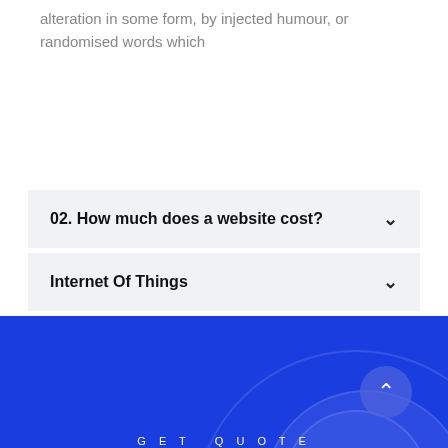alteration in some form, by injected humour, or randomised words which
02. How much does a website cost?
Internet Of Things
GET QUOTE
Make An
Free Consultant